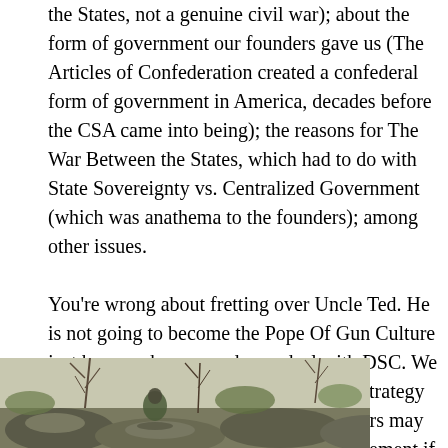the States, not a genuine civil war); about the form of government our founders gave us (The Articles of Confederation created a confederal form of government in America, decades before the CSA came into being); the reasons for The War Between the States, which had to do with State Sovereignty vs. Centralized Government (which was anathema to the founders); among other issues.
You're wrong about fretting over Uncle Ted. He is not going to become the Pope Of Gun Culture just because he scooped up a deal with DSC. We should not be formulating gun defense strategy based on the fear of what the anti-gunners may think or say. We will be ruined as a movement if we think reactively to the bullshit that spews from the Media Matters bunghole.
[Figure (photo): Outdoor photo showing rocks, bare tree branches, and what appears to be a person or figure in camouflage or natural surroundings.]